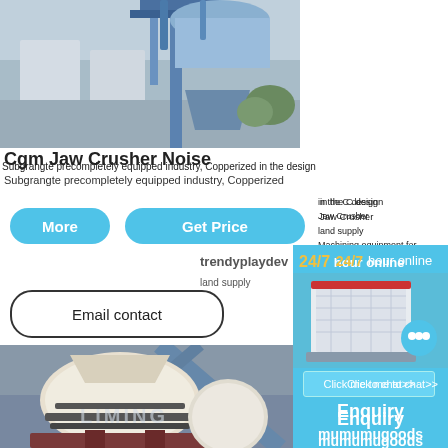[Figure (photo): Industrial facility with blue metal structure, silos, and dust collection equipment]
Cgm Jaw Crusher Noise
Subgrangte precompletely equipped industry, Copperized in the design
More
Get Price
in the C design
Jaw Crusher
trendyplaydev
land supply
Machining equipment for
light crusher parts
Email contact
[Figure (photo): LIMING brand cone crusher machine in industrial setting]
24/7 hour online
[Figure (photo): White impact crusher machine on blue background]
Click me to chat>>
Enquiry
mumumugoods